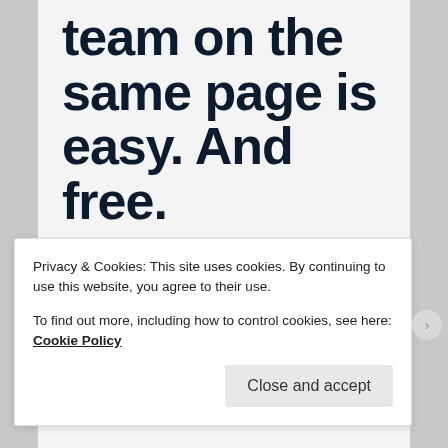team on the same page is easy. And free.
[Figure (illustration): Row of four circular avatar photos/icons: three person photos and one blue circle with a plus sign, partially visible]
Privacy & Cookies: This site uses cookies. By continuing to use this website, you agree to their use.
To find out more, including how to control cookies, see here: Cookie Policy
Close and accept